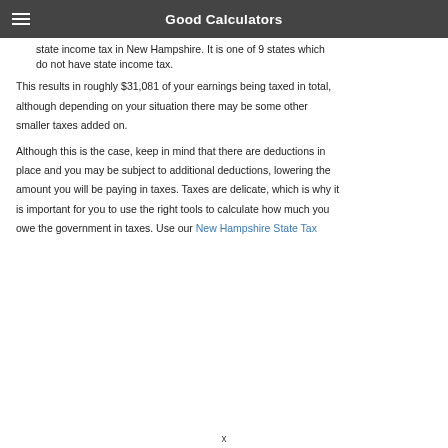Good Calculators
state income tax in New Hampshire. It is one of 9 states which do not have state income tax.
This results in roughly $31,081 of your earnings being taxed in total, although depending on your situation there may be some other smaller taxes added on.
Although this is the case, keep in mind that there are deductions in place and you may be subject to additional deductions, lowering the amount you will be paying in taxes. Taxes are delicate, which is why it is important for you to use the right tools to calculate how much you owe the government in taxes. Use our New Hampshire State Tax